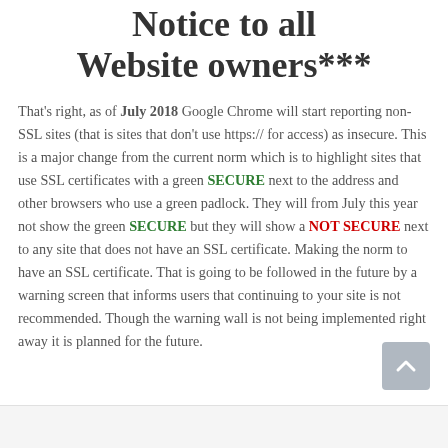Notice to all Website owners***
That's right, as of July 2018 Google Chrome will start reporting non-SSL sites (that is sites that don't use https:// for access) as insecure. This is a major change from the current norm which is to highlight sites that use SSL certificates with a green SECURE next to the address and other browsers who use a green padlock. They will from July this year not show the green SECURE but they will show a NOT SECURE next to any site that does not have an SSL certificate. Making the norm to have an SSL certificate. That is going to be followed in the future by a warning screen that informs users that continuing to your site is not recommended. Though the warning wall is not being implemented right away it is planned for the future.